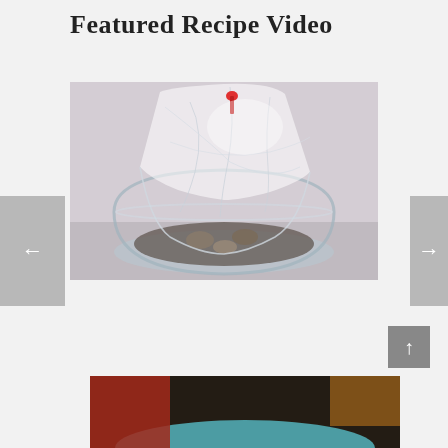Featured Recipe Video
[Figure (photo): A clear glass bowl containing shellfish or similar ingredients covered with a transparent plastic bag, with a small red cap or dropper on top. Light pink/grey background.]
[Figure (photo): Bottom portion of another recipe photo showing blurred colorful ingredients — appears to have red and teal/blue colors, dark background.]